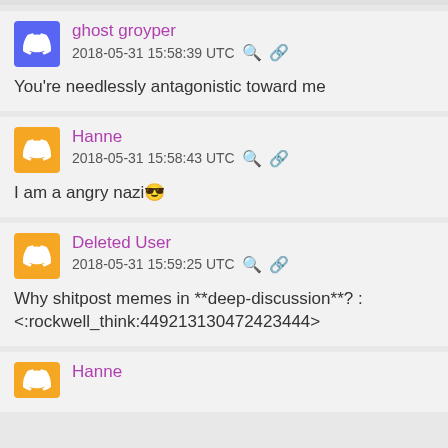ghost groyper — 2018-05-31 15:58:39 UTC
You're needlessly antagonistic toward me
Hanne — 2018-05-31 15:58:43 UTC
I am a angry nazi😎
Deleted User — 2018-05-31 15:59:25 UTC
Why shitpost memes in **deep-discussion**? :<:rockwell_think:449213130472423444>
Hanne